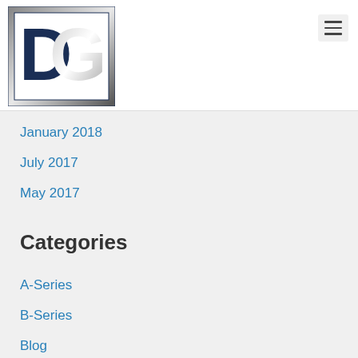DG logo with hamburger menu
January 2018
July 2017
May 2017
Categories
A-Series
B-Series
Blog